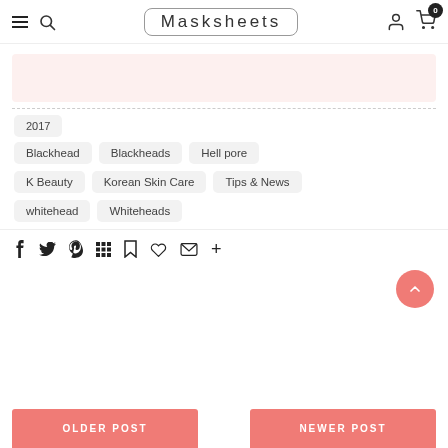Masksheets
[Figure (other): Pink/light red banner/advertisement block]
2017
Blackhead
Blackheads
Hell pore
K Beauty
Korean Skin Care
Tips & News
whitehead
Whiteheads
Social share icons: Facebook, Twitter, Pinterest, Grid, Bookmark, Heart, Email, Plus
OLDER POST
NEWER POST